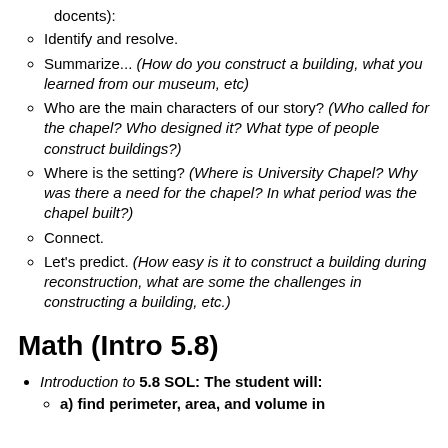docents):
Identify and resolve.
Summarize... (How do you construct a building, what you learned from our museum, etc)
Who are the main characters of our story? (Who called for the chapel? Who designed it? What type of people construct buildings?)
Where is the setting? (Where is University Chapel? Why was there a need for the chapel? In what period was the chapel built?)
Connect.
Let's predict. (How easy is it to construct a building during reconstruction, what are some the challenges in constructing a building, etc.)
Math (Intro 5.8)
Introduction to 5.8 SOL: The student will:
a) find perimeter, area, and volume in